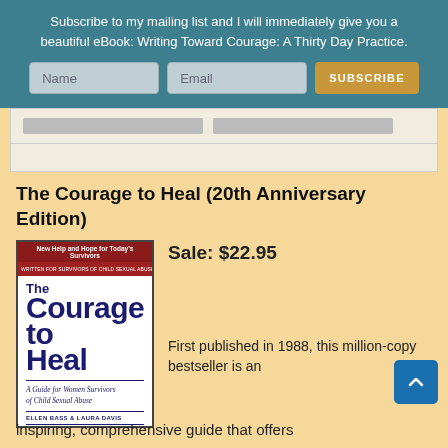Subscribe to my mailing list and I will immediately give you a beautiful eBook: Writing Toward Courage: A Thirty Day Practice.
The Courage to Heal (20th Anniversary Edition)
[Figure (illustration): Book cover of 'The Courage to Heal' by Ellen Bass & Laura Davis. A Guide for Women Survivors of Child Sexual Abuse.]
Sale: $22.95
First published in 1988, this million-copy bestseller is an inspiring, comprehensive guide that offers